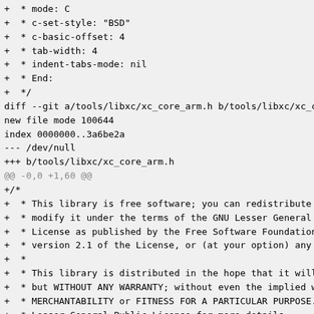diff --git source code listing showing continuation of file header comment and new file diff for xc_core_arm.h with LGPL license header